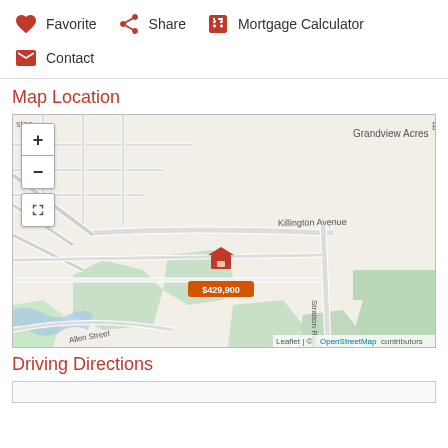Favorite
Share
Mortgage Calculator
Contact
Map Location
[Figure (map): OpenStreetMap showing property location near Killington Avenue, Stratton Road, Allen Street, Rutland City area with Grandview Acres and Killington Heights neighborhoods. Property marker shows $429,900 price label.]
Driving Directions